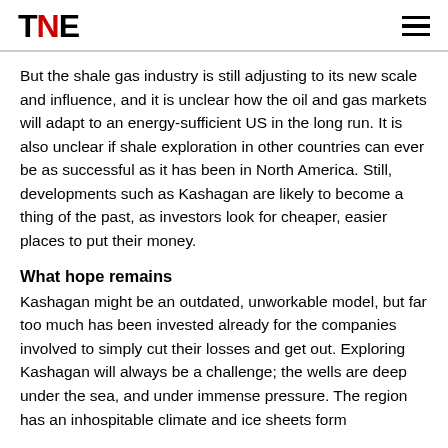TNE
But the shale gas industry is still adjusting to its new scale and influence, and it is unclear how the oil and gas markets will adapt to an energy-sufficient US in the long run. It is also unclear if shale exploration in other countries can ever be as successful as it has been in North America. Still, developments such as Kashagan are likely to become a thing of the past, as investors look for cheaper, easier places to put their money.
What hope remains
Kashagan might be an outdated, unworkable model, but far too much has been invested already for the companies involved to simply cut their losses and get out. Exploring Kashagan will always be a challenge; the wells are deep under the sea, and under immense pressure. The region has an inhospitable climate and ice sheets form